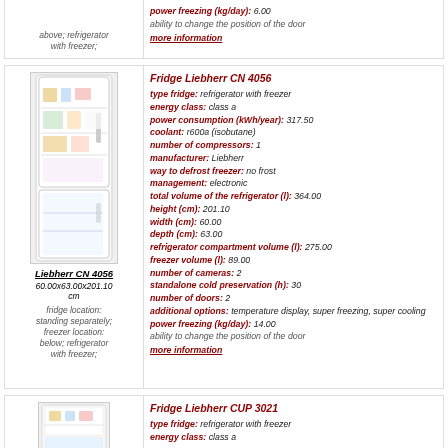above; refrigerator with freezer;
power freezing (kg/day): 6.00
ability to change the position of the door
more information
[Figure (photo): Photo of Liebherr CN 4056 refrigerator with freezer]
Liebherr CN 4056
60.00x63.00x201.10 cm
fridge location: standing separately; freezer location: below; refrigerator with freezer;
Fridge Liebherr CN 4056
type fridge: refrigerator with freezer
energy class: class a
power consumption (kWh/year): 317.50
coolant: r600a (isobutane)
number of compressors: 1
manufacturer: Liebherr
way to defrost freezer: no frost
management: electronic
total volume of the refrigerator (l): 364.00
height (cm): 201.10
width (cm): 60.00
depth (cm): 63.00
refrigerator compartment volume (l): 275.00
freezer volume (l): 89.00
number of cameras: 2
standalone cold preservation (h): 30
number of doors: 2
additional options: temperature display, super freezing, super cooling
power freezing (kg/day): 14.00
ability to change the position of the door
more information
Fridge Liebherr CUP 3021
type fridge: refrigerator with freezer
energy class: class a